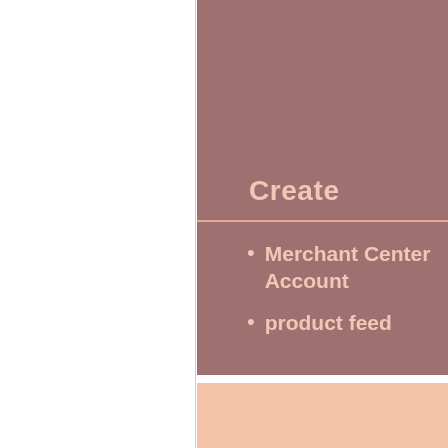Create
Merchant Center Account
product feed